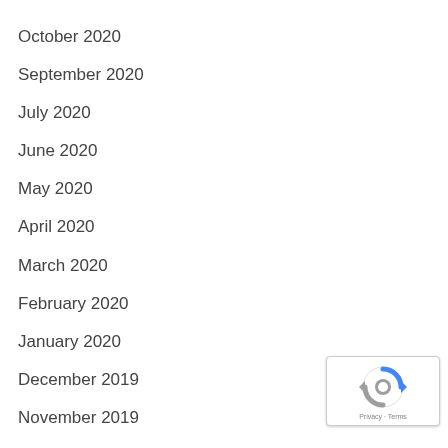October 2020
September 2020
July 2020
June 2020
May 2020
April 2020
March 2020
February 2020
January 2020
December 2019
November 2019
October 2019
[Figure (logo): reCAPTCHA badge with Privacy and Terms links]